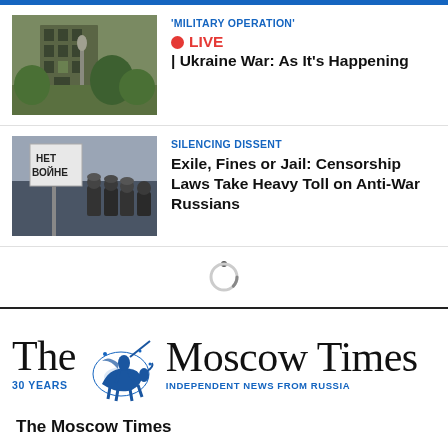[Figure (photo): Photo of a damaged or abandoned building with vegetation, war zone or derelict urban scene]
'MILITARY OPERATION'
LIVE | Ukraine War: As It's Happening
[Figure (photo): Photo of a protest scene with riot police and a sign reading НЕТ ВОЙНЕ (No to War) in Russian]
SILENCING DISSENT
Exile, Fines or Jail: Censorship Laws Take Heavy Toll on Anti-War Russians
[Figure (other): Loading spinner / circular progress indicator]
[Figure (logo): The Moscow Times logo with illustrated emblem of knight on horseback, '30 YEARS' and 'INDEPENDENT NEWS FROM RUSSIA']
The Moscow Times